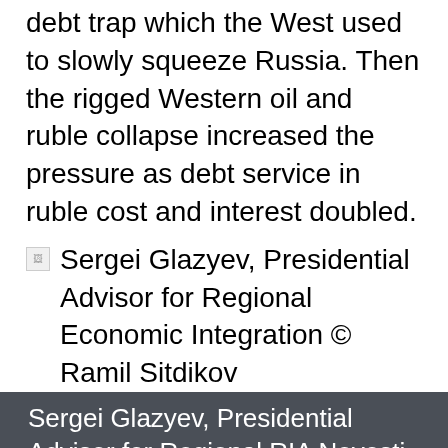debt trap which the West used to slowly squeeze Russia. Then the rigged Western oil and ruble collapse increased the pressure as debt service in ruble cost and interest doubled.
[Figure (photo): Broken image placeholder with alt text: Sergei Glazyev, Presidential Advisor for Regional Economic Integration © Ramil Sitdikov]
Sergei Glazyev, Presidential Advisor for Regional RIA Novosti
So what Glazyev proposes, essentially, is that Moscow must gain total control of its Central Bank, preventing speculators to move their credit around for non-productive purposes;